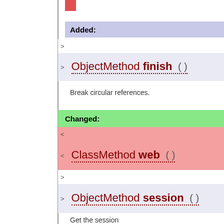Added:
ObjectMethod finish ()
Break circular references.
Changed:
ClassMethod web ()
ObjectMethod session ()
Get the session
ObjectMethod web ()